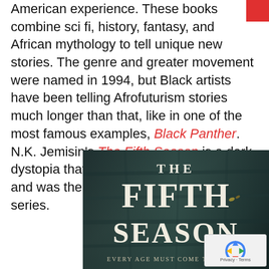American experience. These books combine sci fi, history, fantasy, and African mythology to tell unique new stories. The genre and greater movement were named in 1994, but Black artists have been telling Afrofuturism stories much longer than that, like in one of the most famous examples, Black Panther. N.K. Jemisin's The Fifth Season is a dark dystopia that won the Hugo Award in 2016 and was the first book in the Broken Earth series.
[Figure (photo): Book cover of 'The Fifth Season' by N.K. Jemisin — dark stone/rock texture background with large white serif text reading THE FIFTH SEASON, subtitle EVERY AGE MUST COME TO AN END at the bottom]